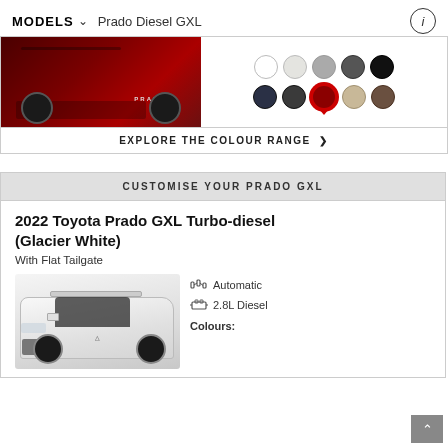MODELS ∨  Prado Diesel GXL
[Figure (photo): Rear view of a dark red Toyota Prado with colour swatches panel showing 10 colour options; the red/crimson swatch is selected with a red ring indicator]
EXPLORE THE COLOUR RANGE >
CUSTOMISE YOUR PRADO GXL
2022 Toyota Prado GXL Turbo-diesel (Glacier White)
With Flat Tailgate
[Figure (photo): Front three-quarter view of a white Toyota Prado GXL with spec icons showing Automatic transmission and 2.8L Diesel engine]
Automatic
2.8L Diesel
Colours: